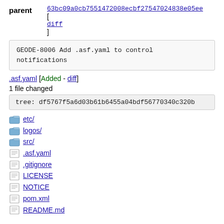parent 63bc09a0cb7551472008ecbf27547024838e05ee [diff]
GEODE-8006 Add .asf.yaml to control notifications
.asf.yaml [Added - diff]
1 file changed
tree: df5767f5a6d03b61b6455a04bdf56770340c320b
etc/
logos/
src/
.asf.yaml
.gitignore
LICENSE
NOTICE
pom.xml
README.md